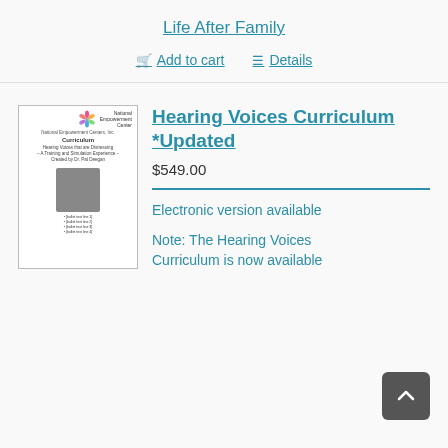Life After Family
Add to cart   Details
[Figure (illustration): Cover image of the Hearing Voices Curriculum booklet from National Empowerment Center, showing the title 'Hearing Voices that are Distressing - A Training and Simulation Experience', with a photo of a person and bullet points.]
Hearing Voices Curriculum *Updated
$549.00
Electronic version available
Note: The Hearing Voices Curriculum is now available